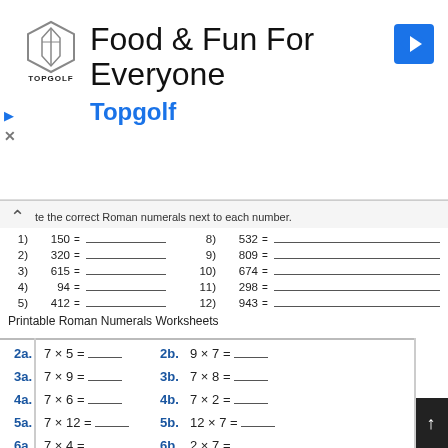[Figure (infographic): Topgolf advertisement banner with logo, title 'Food & Fun For Everyone', subtitle 'Topgolf', and navigation icon]
te the correct Roman numerals next to each number.
1) 150 = ___  8) 532 = ___
2) 320 = ___  9) 809 = ___
3) 615 = ___  10) 674 = ___
4) 94 = ___  11) 298 = ___
5) 412 = ___  12) 943 = ___
Printable Roman Numerals Worksheets
2a. 7 × 5 = ____   2b. 9 × 7 = ____
3a. 7 × 9 = ____   3b. 7 × 8 = ____
4a. 7 × 6 = ____   4b. 7 × 2 = ____
5a. 7 × 12 = ____  5b. 12 × 7 = ____
6a. 7 × 4 = ____   6b. 2 × 7 = ____